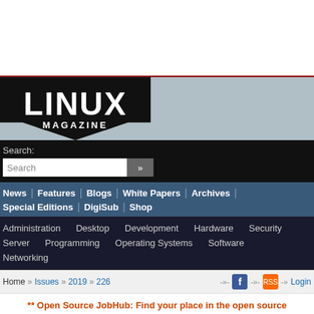[Figure (logo): Linux Magazine logo — white bold LINUX text with MAGAZINE below on black background with shield/chevron shape]
Search:
Search [search box with >> button]
News | Features | Blogs | White Papers | Archives | Special Editions | DigiSub | Shop
Administration   Desktop   Development   Hardware   Security   Server   Programming   Operating Systems   Software   Networking
Home » Issues » 2019 » 226
** Open Source JobHub: Find your place in the open source ecosystem **